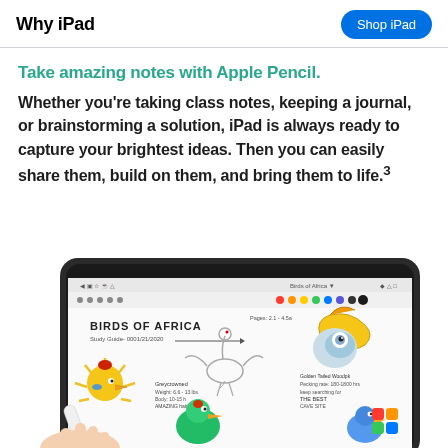Why iPad
Take amazing notes with Apple Pencil.
Whether you’re taking class notes, keeping a journal, or brainstorming a solution, iPad is always ready to capture your brightest ideas. Then you can easily share them, build on them, and bring them to life.³
[Figure (photo): An iPad showing a notes app with hand-drawn illustrations of Birds of Africa, including colorful bird drawings and handwritten notes, with an Apple Pencil being held by a hand in the foreground.]